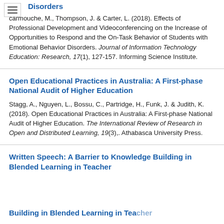Disorders
carmouche, M., Thompson, J. & Carter, L. (2018). Effects of Professional Development and Videoconferencing on the Increase of Opportunities to Respond and the On-Task Behavior of Students with Emotional Behavior Disorders. Journal of Information Technology Education: Research, 17(1), 127-157. Informing Science Institute.
Open Educational Practices in Australia: A First-phase National Audit of Higher Education
Stagg, A., Nguyen, L., Bossu, C., Partridge, H., Funk, J. & Judith, K. (2018). Open Educational Practices in Australia: A First-phase National Audit of Higher Education. The International Review of Research in Open and Distributed Learning, 19(3),. Athabasca University Press.
Written Speech: A Barrier to Knowledge Building in Blended Learning in Teacher...